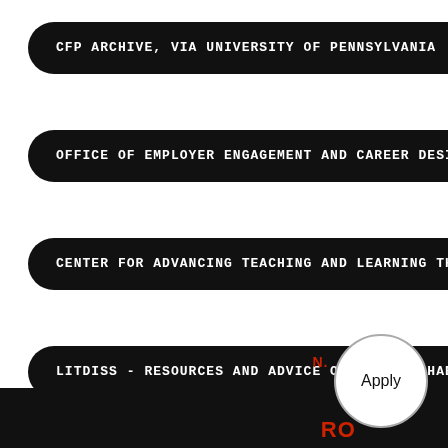CFP ARCHIVE, VIA UNIVERSITY OF PENNSYLVANIA
OFFICE OF EMPLOYER ENGAGEMENT AND CAREER DESIGN
CENTER FOR ADVANCING TEACHING AND LEARNING THROUGH
LITDISS - RESOURCES AND ADVICE ON WRITING HABITS R
N.
Apply
RO